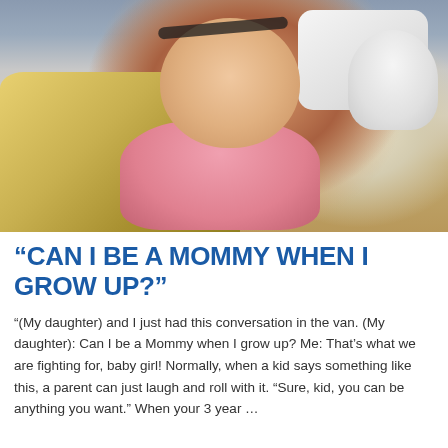[Figure (photo): A young toddler girl lying in a hospital bed, eyes closed, with a medical band/stitches on her forehead, wearing a pink patterned outfit, resting against a golden/yellow blanket with a Snoopy stuffed animal beside her head on a white pillow.]
“CAN I BE A MOMMY WHEN I GROW UP?”
“(My daughter) and I just had this conversation in the van. (My daughter): Can I be a Mommy when I grow up? Me: That’s what we are fighting for, baby girl! Normally, when a kid says something like this, a parent can just laugh and roll with it. “Sure, kid, you can be anything you want.” When your 3 year …